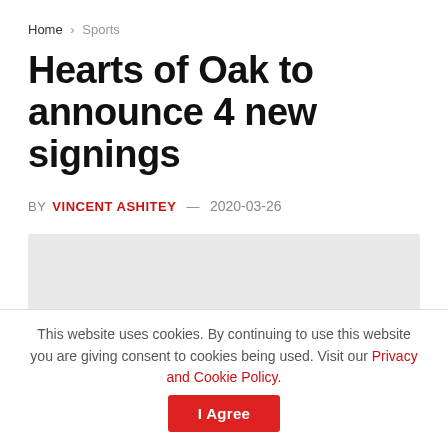Home > Sports
Hearts of Oak to announce 4 new signings
BY VINCENT ASHITEY — 2020-03-26
[Figure (photo): Gray placeholder image for article photo]
This website uses cookies. By continuing to use this website you are giving consent to cookies being used. Visit our Privacy and Cookie Policy.